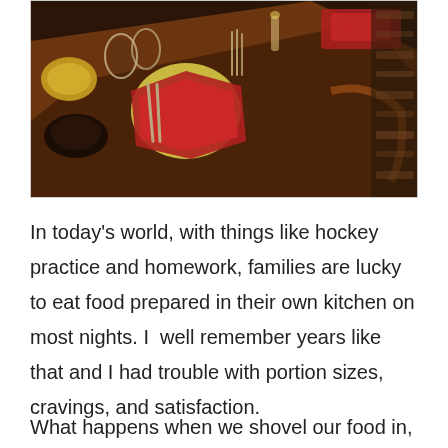[Figure (photo): A dining table set for a meal, viewed from above at an angle, with plates, glasses, cutlery, red napkins, and food dishes arranged on a dark wooden table with a patterned rug visible to the right.]
In today's world, with things like hockey practice and homework, families are lucky to eat food prepared in their own kitchen on most nights. I  well remember years like that and I had trouble with portion sizes, cravings, and satisfaction.
What happens when we shovel our food in, on